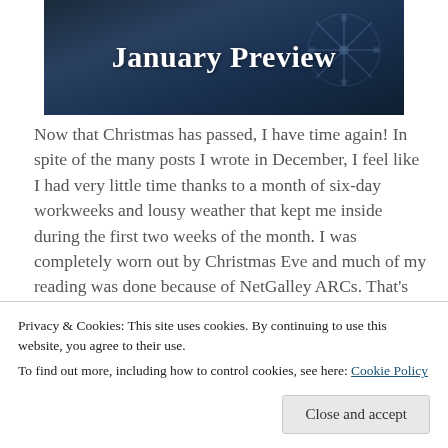[Figure (illustration): Dark blue winter/snowflake themed banner image with text 'January Preview' in white bold serif font]
Now that Christmas has passed, I have time again! In spite of the many posts I wrote in December, I feel like I had very little time thanks to a month of six-day workweeks and lousy weather that kept me inside during the first two weeks of the month. I was completely worn out by Christmas Eve and much of my reading was done because of NetGalley ARCs. That's not to say that I didn't
Privacy & Cookies: This site uses cookies. By continuing to use this website, you agree to their use.
To find out more, including how to control cookies, see here: Cookie Policy
Close and accept